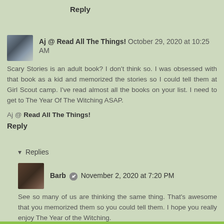Reply
Aj @ Read All The Things! October 29, 2020 at 10:25 AM
Scary Stories is an adult book? I don't think so. I was obsessed with that book as a kid and memorized the stories so I could tell them at Girl Scout camp. I've read almost all the books on your list. I need to get to The Year Of The Witching ASAP.
Aj @ Read All The Things!
Reply
Replies
Barb November 2, 2020 at 7:20 PM
See so many of us are thinking the same thing. That's awesome that you memorized them so you could tell them. I hope you really enjoy The Year of the Witching.